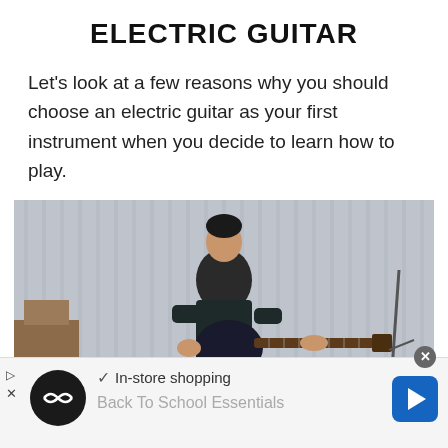ELECTRIC GUITAR
Let's look at a few reasons why you should choose an electric guitar as your first instrument when you decide to learn how to play.
[Figure (photo): A young man sitting on a stool playing an electric guitar in an indoor setting with a corrugated metal wall in the background.]
✓ In-store shopping
Back To School Essentials